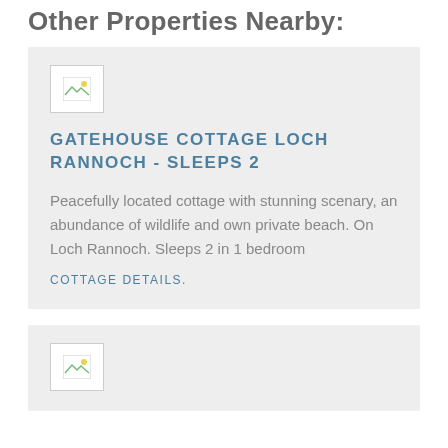Other Properties Nearby:
[Figure (photo): Broken/placeholder image thumbnail for property listing]
GATEHOUSE COTTAGE LOCH RANNOCH - SLEEPS 2
Peacefully located cottage with stunning scenary, an abundance of wildlife and own private beach. On Loch Rannoch. Sleeps 2 in 1 bedroom
COTTAGE DETAILS.
[Figure (photo): Broken/placeholder image thumbnail for second property listing]